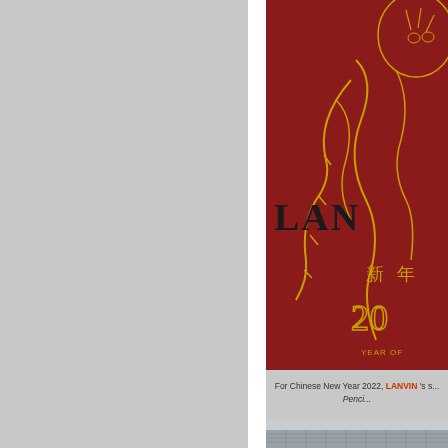[Figure (illustration): Chinese New Year 2022 Year of the Tiger promotional image for LANVIN, featuring a golden tiger illustration on a deep red background with the LANVIN brand name, Chinese characters 新年, decorative 2022 numerals, and text 'YEAR OF...']
For Chinese New Year 2022, LANVIN 's s... Penci...
[Figure (photo): Partial view of a modern glass and steel building exterior architecture.]